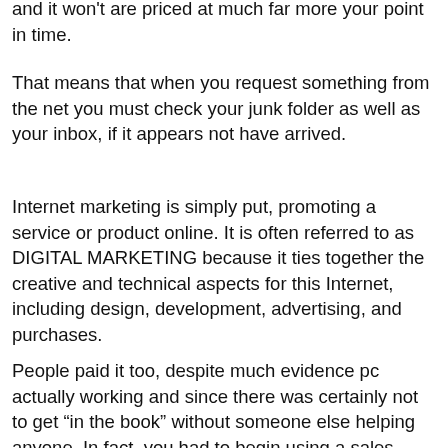and it won't are priced at much far more your point in time.
That means that when you request something from the net you must check your junk folder as well as your inbox, if it appears not have arrived.
Internet marketing is simply put, promoting a service or product online. It is often referred to as DIGITAL MARKETING because it ties together the creative and technical aspects for this Internet, including design, development, advertising, and purchases.
People paid it too, despite much evidence pc actually working and since there was certainly not to get “in the book” without someone else helping anyone. In fact, you had to begin using a sales